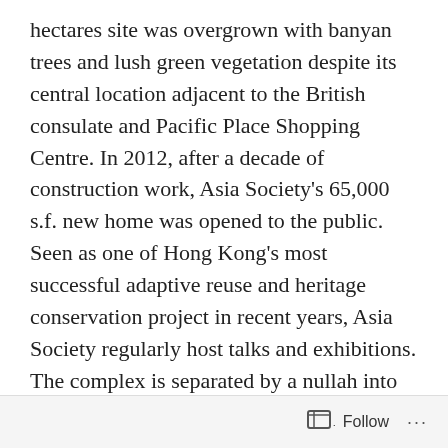hectares site was overgrown with banyan trees and lush green vegetation despite its central location adjacent to the British consulate and Pacific Place Shopping Centre. In 2012, after a decade of construction work, Asia Society's 65,000 s.f. new home was opened to the public. Seen as one of Hong Kong's most successful adaptive reuse and heritage conservation project in recent years, Asia Society regularly host talks and exhibitions. The complex is separated by a nullah into two parts. Where the former explosive magazine buildings are located, the upper site houses a gallery, offices, and theatre. The lower site is occupied by a visitor centre, multi-function hall, gift shop, restaurant, and offices. Connecting the upper and lower sites, Tod Williams and Billie Tsien designed a double decker bridge that zigzags over the sloped rain
Follow ···